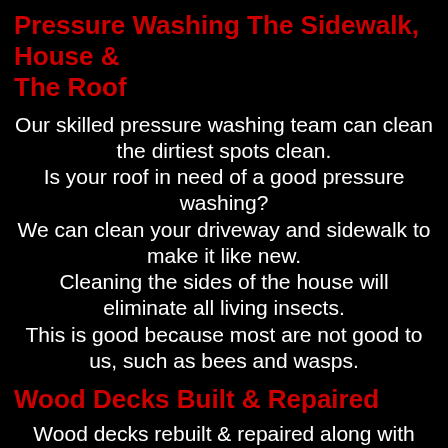Pressure Washing The Sidewalk, House & The Roof
Our skilled pressure washing team can clean the dirtiest spots clean. Is your roof in need of a good pressure washing? We can clean your driveway and sidewalk to make it like new. Cleaning the sides of the house will eliminate all living insects. This is good because most are not good to us, such as bees and wasps.
Wood Decks Built & Repaired
Wood decks rebuilt & repaired along with